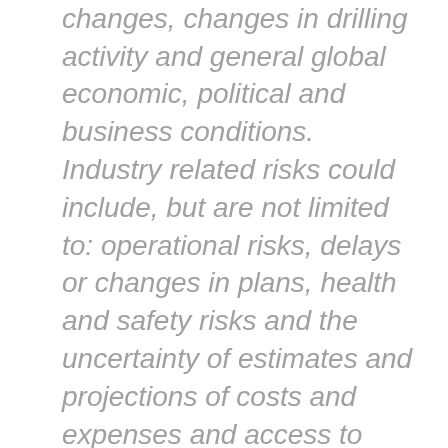rate changes, regulatory changes, changes in drilling activity and general global economic, political and business conditions. Industry related risks could include, but are not limited to: operational risks, delays or changes in plans, health and safety risks and the uncertainty of estimates and projections of costs and expenses and access to capital. The risks outlined above should not be construed as exhaustive. The reader is cautioned not to place undue reliance on this forward-looking information. These forward-looking statements are made as of the date of this press release and Secure disclaims any intent or obligation to update publicly any